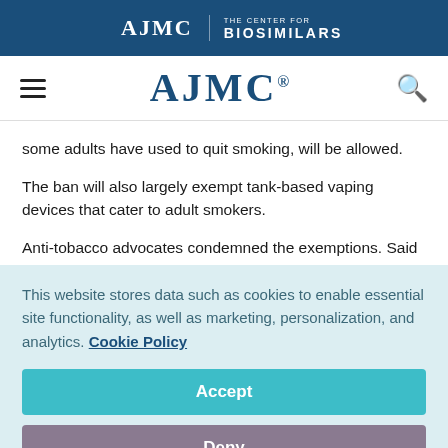AJMC | THE CENTER FOR BIOSIMILARS
AJMC
some adults have used to quit smoking, will be allowed.
The ban will also largely exempt tank-based vaping devices that cater to adult smokers.
Anti-tobacco advocates condemned the exemptions. Said
This website stores data such as cookies to enable essential site functionality, as well as marketing, personalization, and analytics. Cookie Policy
Accept
Deny